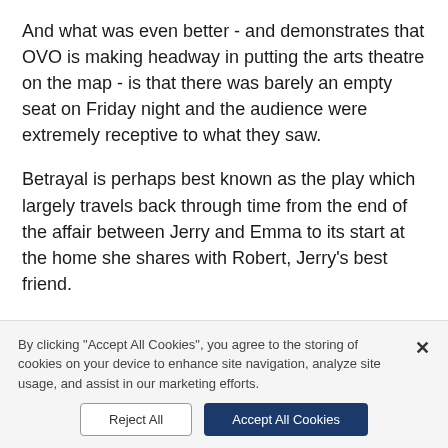And what was even better - and demonstrates that OVO is making headway in putting the arts theatre on the map - is that there was barely an empty seat on Friday night and the audience were extremely receptive to what they saw.
Betrayal is perhaps best known as the play which largely travels back through time from the end of the affair between Jerry and Emma to its start at the home she shares with Robert, Jerry's best friend.
Themes of betrayal permeate the play - not just the fact that Pinter wrote it about his own affair with broadcaster Joan Bakewell but also betrayal in marriage, friendship and work.
By clicking "Accept All Cookies", you agree to the storing of cookies on your device to enhance site navigation, analyze site usage, and assist in our marketing efforts.